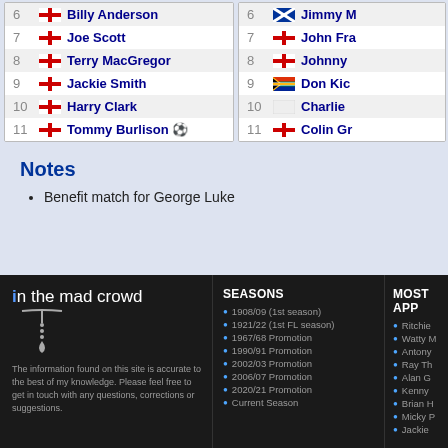| # | Flag | Player |
| --- | --- | --- |
| 6 | ENG | Billy Anderson |
| 7 | ENG | Joe Scott |
| 8 | ENG | Terry MacGregor |
| 9 | ENG | Jackie Smith |
| 10 | ENG | Harry Clark |
| 11 | ENG | Tommy Burlison ⚽ |
| # | Flag | Player |
| --- | --- | --- |
| 6 | SCO | Jimmy M... |
| 7 | ENG | John Fra... |
| 8 | ENG | Johnny ... |
| 9 | RSA | Don Kic... |
| 10 | WHT | Charlie ... |
| 11 | ENG | Colin Gr... |
Notes
Benefit match for George Luke
[Figure (logo): in the mad crowd logo with hanging figure icon]
The information found on this site is accurate to the best of my knowledge. Please feel free to get in touch with any questions, corrections or suggestions.
SEASONS
1908/09 (1st season)
1921/22 (1st FL season)
1967/68 Promotion
1990/91 Promotion
2002/03 Promotion
2006/07 Promotion
2020/21 Promotion
Current Season
MOST APP...
Ritchie
Watty M
Antony
Ray Th
Alan G
Kenny
Brian H
Micky P
Jackie